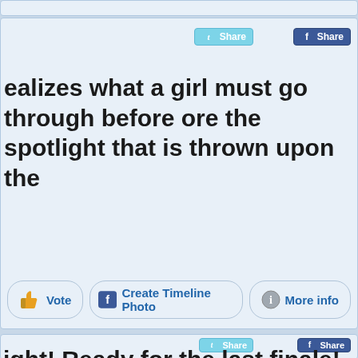[Figure (screenshot): Top sliver of a card UI element with a light blue background]
[Figure (screenshot): Social sharing card with Twitter Share and Facebook Share buttons, bold quote text reading 'ealizes what a girl must go through before ore the spotlight that is thrown upon the', and action buttons: Vote, Create Timeline Photo, More info]
ealizes what a girl must go through before ore the spotlight that is thrown upon the
[Figure (screenshot): Second card beginning at bottom with Twitter Share and Facebook Share buttons and partial bold text 'ight! Ready for the last finale! Great! The']